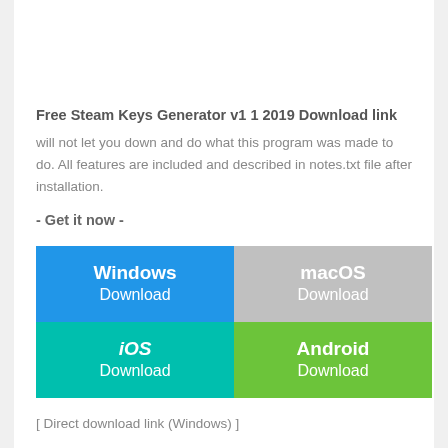Free Steam Keys Generator v1 1 2019 Download link
will not let you down and do what this program was made to do. All features are included and described in notes.txt file after installation.
- Get it now -
[Figure (infographic): Four download buttons in a 2x2 grid: Windows Download (blue), macOS Download (gray), iOS Download (teal), Android Download (green)]
[ Direct download link (Windows) ]